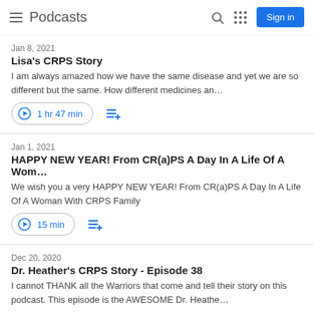Podcasts
Jan 8, 2021
Lisa's CRPS Story
I am always amazed how we have the same disease and yet we are so different but the same. How different medicines an…
1 hr 47 min
Jan 1, 2021
HAPPY NEW YEAR! From CR(a)PS A Day In A Life Of A Wom…
We wish you a very HAPPY NEW YEAR! From CR(a)PS A Day In A Life Of A Woman With CRPS Family
15 min
Dec 20, 2020
Dr. Heather's CRPS Story - Episode 38
I cannot THANK all the Warriors that come and tell their story on this podcast. This episode is the AWESOME Dr. Heathe…